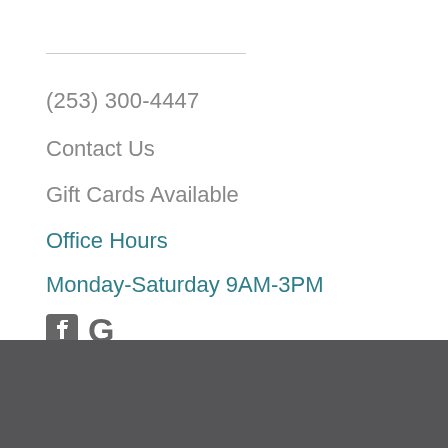(253) 300-4447
Contact Us
Gift Cards Available
Office Hours
Monday-Saturday 9AM-3PM
[Figure (logo): Facebook and Google social media icons]